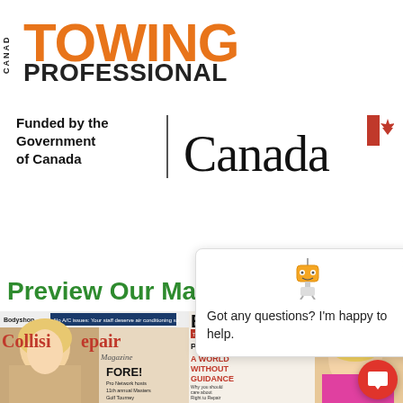[Figure (logo): Canadian Towing Professional magazine logo with orange TOWING text and black PROFESSIONAL text]
[Figure (logo): Funded by the Government of Canada logo with Canada wordmark and maple leaf flag]
Preview Our Mag
[Figure (photo): Collision Repair Magazine cover featuring a woman and FORE! headline]
[Figure (screenshot): Chat widget popup with robot icon saying: Got any questions? I'm happy to help.]
[Figure (photo): Bodyworx Professional magazine cover featuring a woman and A World Without Guidance headline]